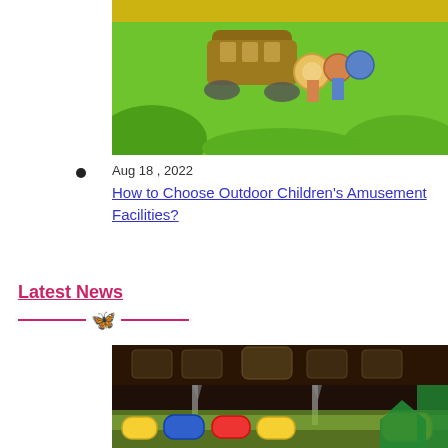[Figure (photo): Cartoon-style outdoor amusement scene with animated vehicle and characters on green background]
Aug 18 , 2022
How to Choose Outdoor Children's Amusement Facilities?
Latest News
[Figure (photo): Indoor children's amusement facility with toy cars/go-karts, hexagonal ceiling lights, palm trees, castle and house decorations]